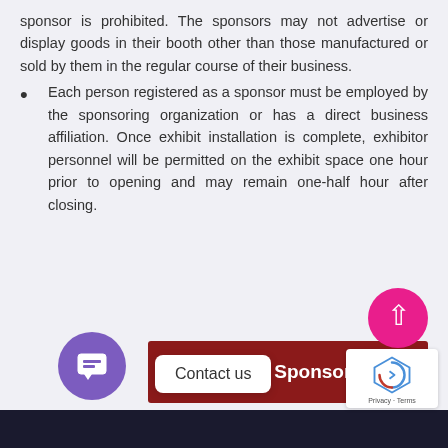sponsor is prohibited. The sponsors may not advertise or display goods in their booth other than those manufactured or sold by them in the regular course of their business.
Each person registered as a sponsor must be employed by the sponsoring organization or has a direct business affiliation. Once exhibit installation is complete, exhibitor personnel will be permitted on the exhibit space one hour prior to opening and may remain one-half hour after closing.
[Figure (other): Apply for Sponsorship button (dark red/maroon), Contact us popup bubble, purple chat circle icon, pink up-arrow circle, reCAPTCHA widget, dark footer bar]